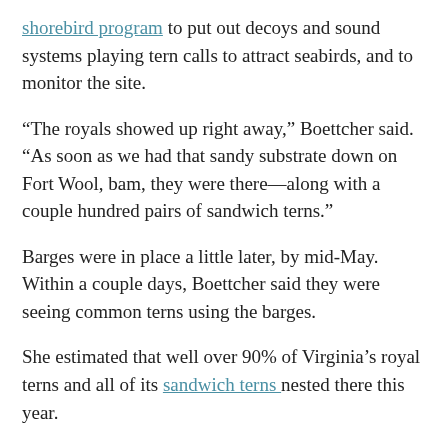shorebird program to put out decoys and sound systems playing tern calls to attract seabirds, and to monitor the site.
“The royals showed up right away,” Boettcher said. “As soon as we had that sandy substrate down on Fort Wool, bam, they were there—along with a couple hundred pairs of sandwich terns.”
Barges were in place a little later, by mid-May. Within a couple days, Boettcher said they were seeing common terns using the barges.
She estimated that well over 90% of Virginia’s royal terns and all of its sandwich terns nested there this year.
Other species using Fort Wool include laughing gulls, snowy egrets and just a handful of American oyster catchers, herring gulls and great black-backed gulls. Common terns, black skimmers and gull-billed terns all